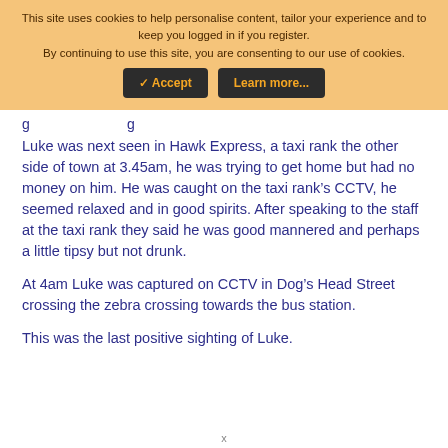[Figure (screenshot): Cookie consent banner with orange/tan background. Text: 'This site uses cookies to help personalise content, tailor your experience and to keep you logged in if you register. By continuing to use this site, you are consenting to our use of cookies.' Two dark buttons: Accept and Learn more...]
Luke was next seen in Hawk Express, a taxi rank the other side of town at 3.45am, he was trying to get home but had no money on him. He was caught on the taxi rank’s CCTV, he seemed relaxed and in good spirits. After speaking to the staff at the taxi rank they said he was good mannered and perhaps a little tipsy but not drunk.
At 4am Luke was captured on CCTV in Dog’s Head Street crossing the zebra crossing towards the bus station.
This was the last positive sighting of Luke.